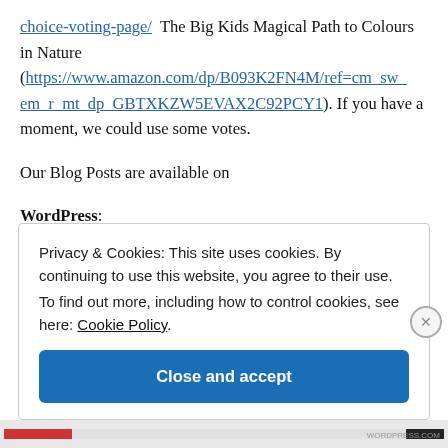choice-voting-page/  The Big Kids Magical Path to Colours in Nature (https://www.amazon.com/dp/B093K2FN4M/ref=cm_sw_em_r_mt_dp_GBTXKZW5EVAX2C92PCY1). If you have a moment, we could use some votes.
Our Blog Posts are available on
WordPress:
Privacy & Cookies: This site uses cookies. By continuing to use this website, you agree to their use. To find out more, including how to control cookies, see here: Cookie Policy
Close and accept